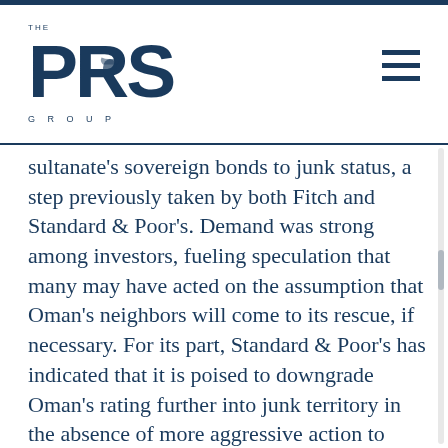[Figure (logo): The PRS Group logo with large PRS letters and eagle emblem, dark navy blue color]
sultanate's sovereign bonds to junk status, a step previously taken by both Fitch and Standard & Poor's. Demand was strong among investors, fueling speculation that many may have acted on the assumption that Oman's neighbors will come to its rescue, if necessary. For its part, Standard & Poor's has indicated that it is poised to downgrade Oman's rating further into junk territory in the absence of more aggressive action to narrow the budget deficit. Since 1979, The PRS Group Inc., has been a global leader in quant-based political and country